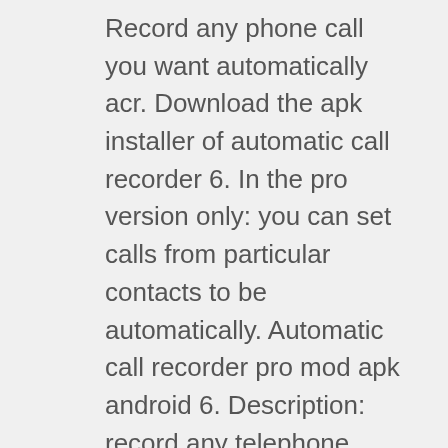Record any phone call you want automatically acr. Download the apk installer of automatic call recorder 6. In the pro version only: you can set calls from particular contacts to be automatically. Automatic call recorder pro mod apk android 6. Description: record any telephone connection and select the connections you want to save. Download free oproep opnemer 6. 4 for your android phone or tablet, file size: 8. 53 mb, was updated 2021/11/11 requirements:android: 4. 1 jelly bean or. Free download automatic call recorder pro mod apk 6. 4 latest version 2020 this game is fully